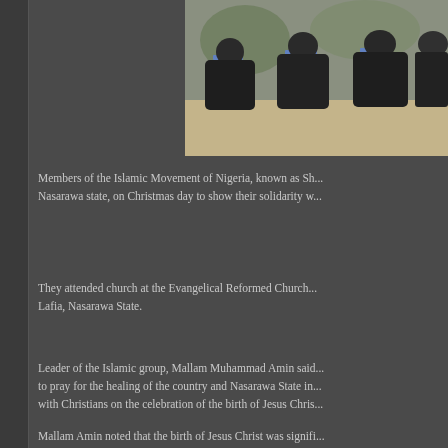[Figure (photo): People dressed in dark robes/hijabs sitting on blue plastic chairs outdoors on sandy ground, members of the Islamic Movement of Nigeria]
Members of the Islamic Movement of Nigeria, known as Sh... Nasarawa state, on Christmas day to show their solidarity w...
They attended church at the Evangelical Reformed Church... Lafia, Nasarawa State.
Leader of the Islamic group, Mallam Muhammad Amin said... to pray for the healing of the country and Nasarawa State in... with Christians on the celebration of the birth of Jesus Chris...
Mallam Amin noted that the birth of Jesus Christ was signifi...